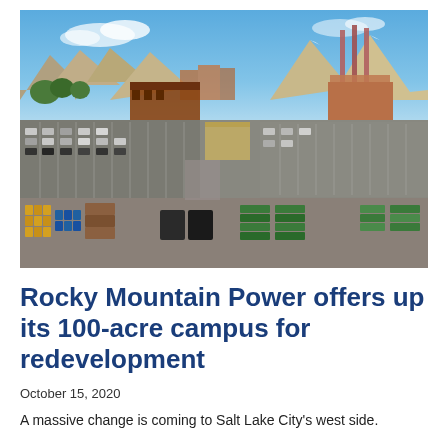[Figure (photo): Aerial drone photograph of Rocky Mountain Power's campus in Salt Lake City, showing large parking lots, industrial buildings with smokestacks in the background, mountains visible in the distance, and various equipment, barrels, and materials stored in the foreground yard area.]
Rocky Mountain Power offers up its 100-acre campus for redevelopment
October 15, 2020
A massive change is coming to Salt Lake City's west side.